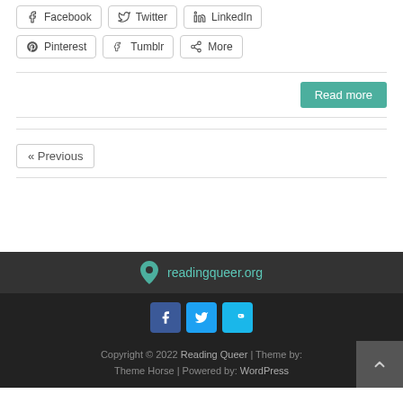Facebook
Twitter
LinkedIn
Pinterest
Tumblr
More
Read more
« Previous
readingqueer.org
Copyright © 2022 Reading Queer | Theme by: Theme Horse | Powered by: WordPress